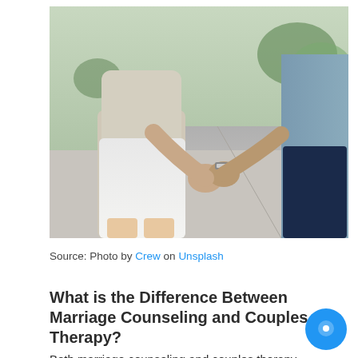[Figure (photo): Two people holding hands while walking on a sidewalk, seen from behind. One person wears white shorts and a light beige top, the other wears dark pants and a light blue denim shirt. The background shows a blurred street scene with trees.]
Source: Photo by Crew on Unsplash
What is the Difference Between Marriage Counseling and Couples Therapy?
Both marriage counseling and couples therapy are